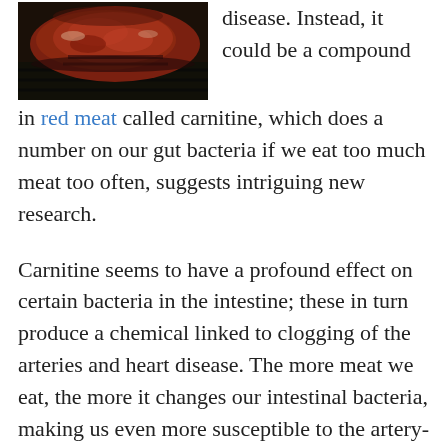[Figure (photo): Close-up photo of red meat (steak) cooking on a dark grill pan]
disease. Instead, it could be a compound in red meat called carnitine, which does a number on our gut bacteria if we eat too much meat too often, suggests intriguing new research.
Carnitine seems to have a profound effect on certain bacteria in the intestine; these in turn produce a chemical linked to clogging of the arteries and heart disease. The more meat we eat, the more it changes our intestinal bacteria, making us even more susceptible to the artery-clogging by-products.
By contrast, vegetarians and vegans who were given a generous serving of red meat as part of the new study didn't produce the same harmful chemicals in their bloodstream as did the meat eaters, most likely because